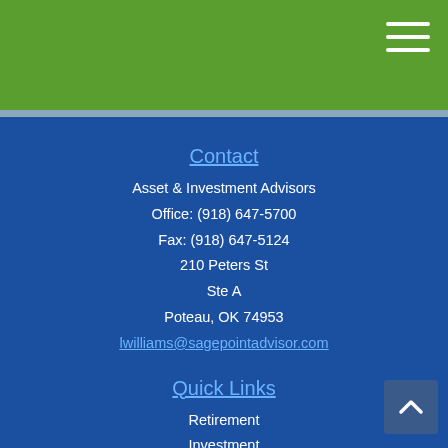Contact
Asset & Investment Advisors
Office: (918) 647-5700
Fax: (918) 647-5124
210 Peters St
Ste A
Poteau, OK 74953
lwilliams@sagepointadvisor.com
Quick Links
Retirement
Investment
Estate
Insurance
Tax
Money
Lifestyle